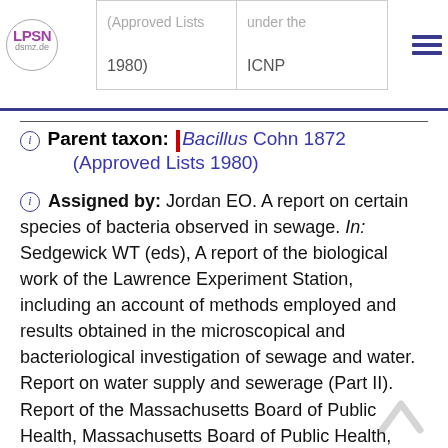(Approved Lists 1980) | under the ICNP
Parent taxon: | Bacillus Cohn 1872 (Approved Lists 1980)
Assigned by: Jordan EO. A report on certain species of bacteria observed in sewage. In: Sedgewick WT (eds), A report of the biological work of the Lawrence Experiment Station, including an account of methods employed and results obtained in the microscopical and bacteriological investigation of sewage and water. Report on water supply and sewerage (Part II). Report of the Massachusetts Board of Public Health, Massachusetts Board of Public Health, Boston, 1890, p. 821-844.